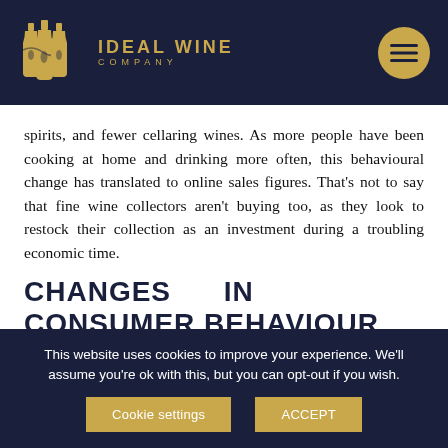IDEAL WINE COMPANY
spirits, and fewer cellaring wines. As more people have been cooking at home and drinking more often, this behavioural change has translated to online sales figures. That's not to say that fine wine collectors aren't buying too, as they look to restock their collection as an investment during a troubling economic time.
CHANGES IN CONSUMER BEHAVIOUR AND BUYING CHOICES
This website uses cookies to improve your experience. We'll assume you're ok with this, but you can opt-out if you wish.
Cookie settings | ACCEPT